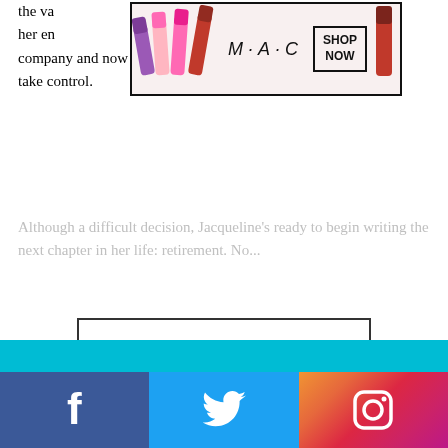the va... s put her en... sful company and now she gets to watch her star employee take control.
[Figure (advertisement): MAC cosmetics advertisement banner with colorful lipsticks and SHOP NOW button]
Although a difficult decision, Jacqueline’s ready to begin writing the next chapter in her life: retirement. No...
CONTINUE READING
[Figure (advertisement): 37 Items People Love to Purchase on Amazon - sponsored content ad with kitchen knives background]
[Figure (advertisement): Macy's - Kiss Boring Lips Goodbye - Shop Now advertisement]
[Figure (infographic): Social media share bar with Facebook, Twitter, and Instagram icons]